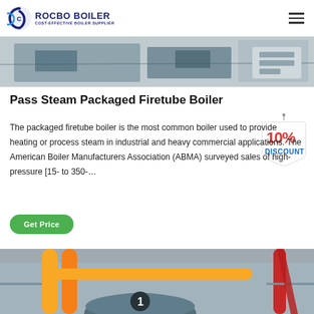[Figure (logo): Rocbo Boiler logo with circular C icon and text COST-EFFECTIVE BOILER SUPPLIER]
[Figure (photo): Industrial boiler equipment photo strip at top of page]
Pass Steam Packaged Firetube Boiler
[Figure (other): 10% DISCOUNT badge/tag illustration]
The packaged firetube boiler is the most common boiler used to provide heating or process steam in industrial and heavy commercial applications. The American Boiler Manufacturers Association (ABMA) surveyed sales of high-pressure [15- to 350-...
[Figure (other): Get Price green button]
[Figure (photo): Industrial boiler interior photo showing yellow pipes and boiler drum]